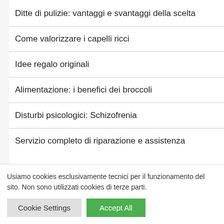Ditte di pulizie: vantaggi e svantaggi della scelta
Come valorizzare i capelli ricci
Idee regalo originali
Alimentazione: i benefici dei broccoli
Disturbi psicologici: Schizofrenia
Servizio completo di riparazione e assistenza
Usiamo cookies esclusivamente tecnici per il funzionamento del sito. Non sono utilizzati cookies di terze parti.
Cookie Settings | Accept All